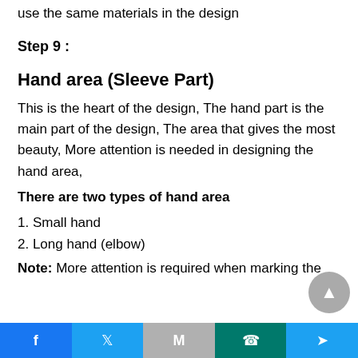use the same materials in the design
Step 9 :
Hand area (Sleeve Part)
This is the heart of the design, The hand part is the main part of the design, The area that gives the most beauty, More attention is needed in designing the hand area,
There are two types of hand area
1. Small hand
2. Long hand (elbow)
Note: More attention is required when marking the
Facebook  Twitter  Gmail  WhatsApp  Share